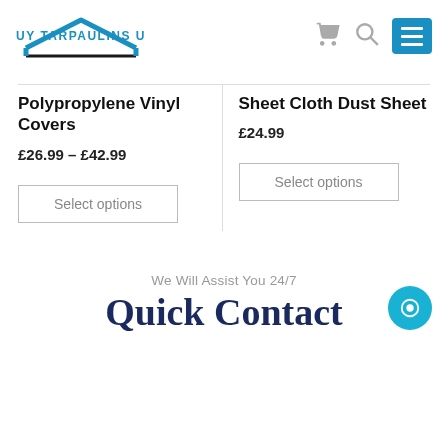[Figure (logo): Buy Tarpaulins UK logo with house/roof icon and blue text]
Polypropylene Vinyl Covers
£26.99 – £42.99
Select options
Sheet Cloth Dust Sheet
£24.99
Select options
We Will Assist You 24/7
Quick Contact